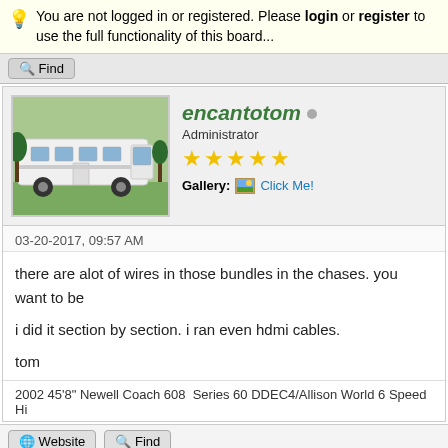You are not logged in or registered. Please login or register to use the full functionality of this board...
Find
encantotom
Administrator
Gallery: Click Me!
03-20-2017, 09:57 AM
there are alot of wires in those bundles in the chases. you want to be
i did it section by section. i ran even hdmi cables.
tom
2002 45'8" Newell Coach 608  Series 60 DDEC4/Allison World 6 Speed Hi
Website
Find